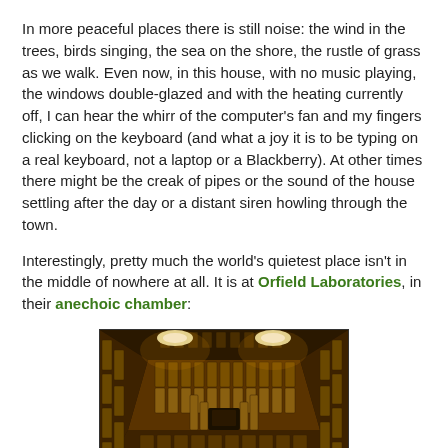In more peaceful places there is still noise: the wind in the trees, birds singing, the sea on the shore, the rustle of grass as we walk. Even now, in this house, with no music playing, the windows double-glazed and with the heating currently off, I can hear the whirr of the computer's fan and my fingers clicking on the keyboard (and what a joy it is to be typing on a real keyboard, not a laptop or a Blackberry). At other times there might be the creak of pipes or the sound of the house settling after the day or a distant siren howling through the town.
Interestingly, pretty much the world's quietest place isn't in the middle of nowhere at all. It is at Orfield Laboratories, in their anechoic chamber:
[Figure (photo): Interior photograph of an anechoic chamber at Orfield Laboratories, showing walls covered with acoustic foam wedge panels in an orange/golden color, with overhead lighting illuminating the room.]